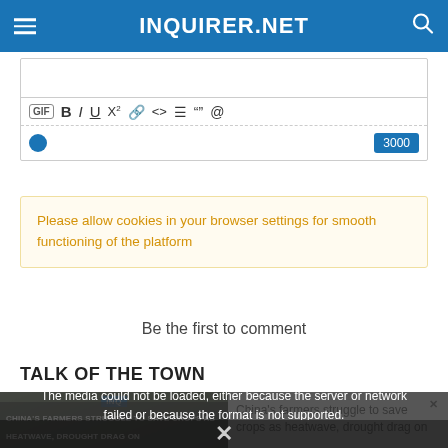INQUIRER.NET
[Figure (screenshot): Comment editor toolbar with GIF, Bold, Italic, Underline, Superscript, Link, Code, List, Quote, Mention buttons and a character count of 3000]
Please allow cookies in your browser settings for smooth functioning of the platform
Be the first to comment
TALK OF THE TOWN
[Figure (screenshot): Media error overlay: 'The media could not be loaded, either because the server or network failed or because the format is not supported.' with news card showing China's farmers struggle to save crops as heatwave, drought drag on]